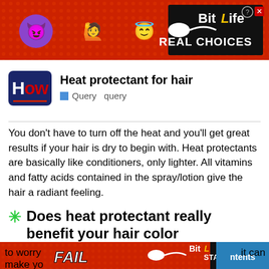[Figure (screenshot): BitLife app advertisement banner with emoji characters (devil, person, angel) on red background with 'REAL CHOICES' text]
Heat protectant for hair
Query  query
You don't have to turn off the heat and you'll get great results if your hair is dry to begin with. Heat protectants are basically like conditioners, only lighter. All vitamins and fatty acids contained in the spray/lotion give the hair a radiant feeling.
✳ Does heat protectant really benefit your hair color
[Figure (photo): Woman with red hair smiling, holding blue dental tooth model]
[Figure (screenshot): Popup ad: Dental Implants May Be Paid By Medicare (See How). Source: Dental Implants | Search Ads | Sponsored]
to worry ... it can make yo...ntents
[Figure (screenshot): BitLife app advertisement banner with FAIL text and 'START A NEW LIFE' on dark background]